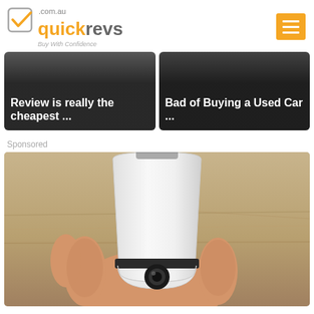[Figure (logo): quickrevs.com.au logo with orange checkmark and tagline 'Buy With Confidence']
[Figure (photo): Article card with text 'Review is really the cheapest ...' overlaid on dark background]
[Figure (photo): Article card with text 'Bad of Buying a Used Car ...' overlaid on dark car image]
Sponsored
[Figure (photo): Sponsored image: a hand holding a white smart light bulb camera device with screw base, against wood background]